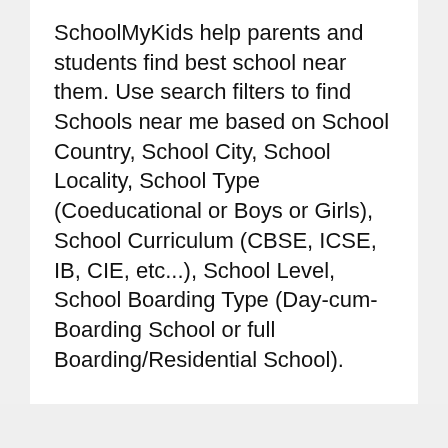SchoolMyKids help parents and students find best school near them. Use search filters to find Schools near me based on School Country, School City, School Locality, School Type (Coeducational or Boys or Girls), School Curriculum (CBSE, ICSE, IB, CIE, etc...), School Level, School Boarding Type (Day-cum-Boarding School or full Boarding/Residential School).